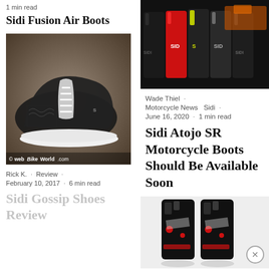1 min read
Sidi Fusion Air Boots
[Figure (photo): Black and white Sidi sneaker/shoe on grey background with webBikeWorld.com watermark]
Rick K. · Review · February 10, 2017 · 6 min read
Sidi Gossip Shoes Review
[Figure (photo): Multiple colorful Sidi motorcycle boots lined up (black, red, yellow/green)]
Wade Thiel · Motorcycle News Sidi · June 16, 2020 · 1 min read
Sidi Atojo SR Motorcycle Boots Should Be Available Soon
[Figure (photo): Black Sidi motorcycle boots with red accents, shown as a pair]